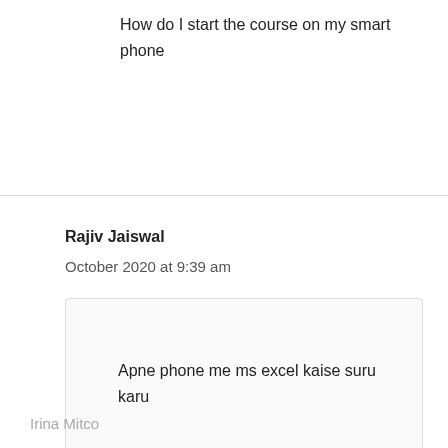How do I start the course on my smart phone
Rajiv Jaiswal
October 2020 at 9:39 am
Apne phone me ms excel kaise suru karu
Irina Mitco